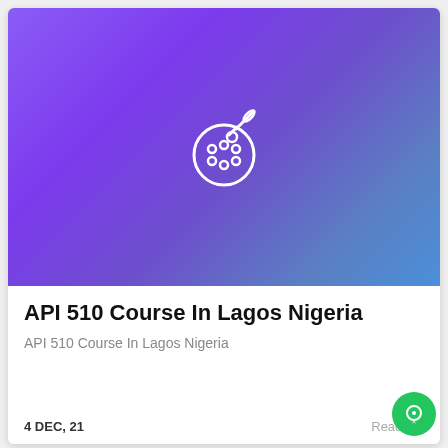[Figure (illustration): Purple-to-blue gradient background with a white paint palette and brush icon centered]
API 510 Course In Lagos Nigeria
API 510 Course In Lagos Nigeria
4 DEC, 21
Read Mo